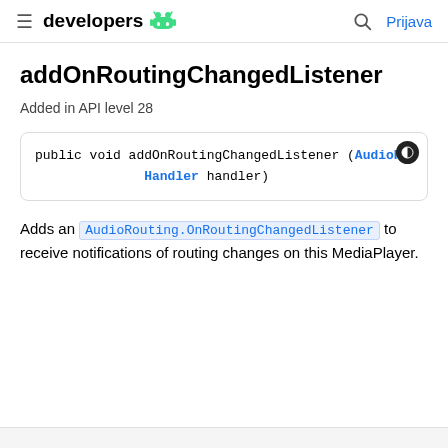developers · Prijava
addOnRoutingChangedListener
Added in API level 28
public void addOnRoutingChangedListener (AudioR Handler handler)
Adds an AudioRouting.OnRoutingChangedListener to receive notifications of routing changes on this MediaPlayer.